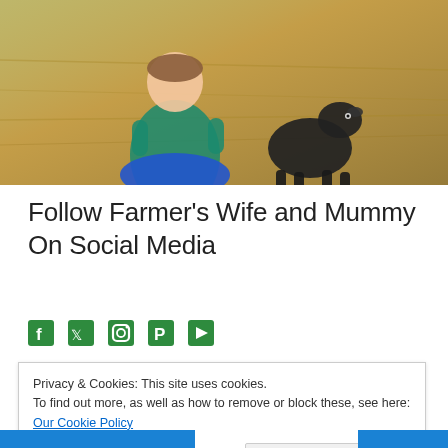[Figure (photo): A child wearing a teal/green top and blue tutu skirt standing next to a black animal (lamb/calf) in front of hay bales on a farm.]
Follow Farmer's Wife and Mummy On Social Media
[Figure (infographic): Row of green social media icons: Facebook, Twitter, Instagram, Pinterest, YouTube]
Privacy & Cookies: This site uses cookies. To find out more, as well as how to remove or block these, see here: Our Cookie Policy